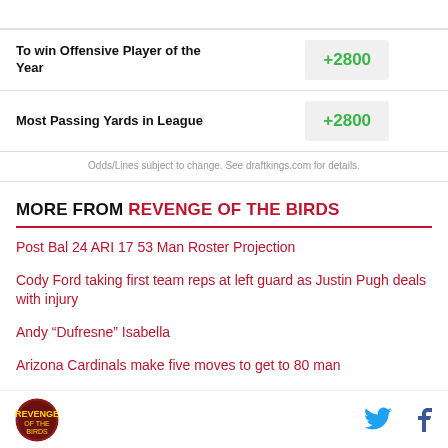| Bet | Odds |
| --- | --- |
| To win Offensive Player of the Year | +2800 |
| Most Passing Yards in League | +2800 |
Odds/Lines subject to change. See draftkings.com for details.
MORE FROM REVENGE OF THE BIRDS
Post Bal 24 ARI 17 53 Man Roster Projection
Cody Ford taking first team reps at left guard as Justin Pugh deals with injury
Andy “Dufresne” Isabella
Arizona Cardinals make five moves to get to 80 man
Logo and social icons